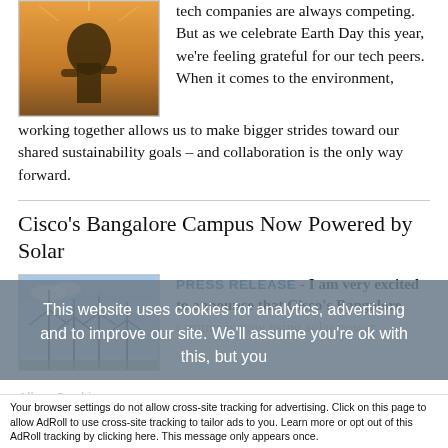[Figure (photo): A person silhouetted against a warm sunset, possibly with industrial or utility equipment in the background.]
tech companies are always competing. But as we celebrate Earth Day this year, we're feeling grateful for our tech peers. When it comes to the environment, working together allows us to make bigger strides toward our shared sustainability goals – and collaboration is the only way forward.
Cisco's Bangalore Campus Now Powered by Solar
[Figure (photo): Solar panels or wind turbines against a blue sky, representing renewable energy.]
PRESS RELEASE - I am very excited to announce that Cisco's Bangalore campus is now using solar power...
This website uses cookies for analytics, advertising and to improve our site. We'll assume you're ok with this, but you
Accept and Close ✕
Your browser settings do not allow cross-site tracking for advertising. Click on this page to allow AdRoll to use cross-site tracking to tailor ads to you. Learn more or opt out of this AdRoll tracking by clicking here. This message only appears once.